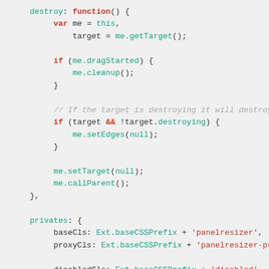[Figure (screenshot): Code snippet showing JavaScript destroy function and privates object with syntax highlighting. destroy method contains variable declarations, if blocks for dragStarted and target.destroying checks, and calls to setTarget and callParent. privates object shows baseCls, proxyCls, and disabledCls properties.]